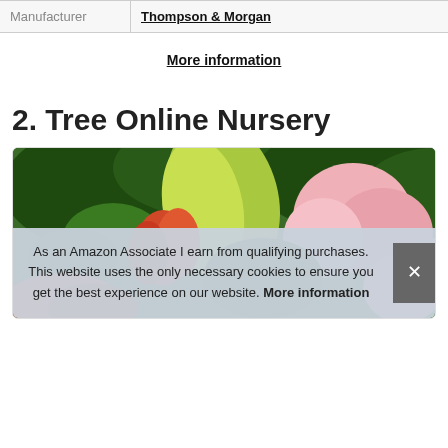| Manufacturer |  |
| --- | --- |
| Manufacturer | Thompson & Morgan |
More information
2. Tree Online Nursery
[Figure (photo): Photo of flowering plants with pink and orange blooms against green foliage background]
As an Amazon Associate I earn from qualifying purchases. This website uses the only necessary cookies to ensure you get the best experience on our website. More information